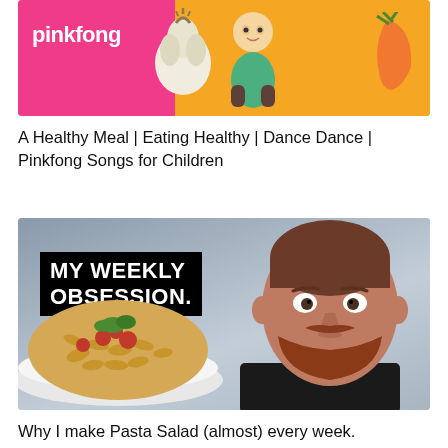[Figure (screenshot): Pinkfong YouTube thumbnail showing pink and orange background with garlic, cartoon character, and carrot illustrations, with 'pinkfong' logo in white on pink section]
A Healthy Meal | Eating Healthy | Dance Dance | Pinkfong Songs for Children
[Figure (screenshot): YouTube thumbnail showing a man with red beard holding a plate of pasta salad, with black rectangle text overlay reading 'MY WEEKLY OBSESSION.' against a grey background]
Why I make Pasta Salad (almost) every week.